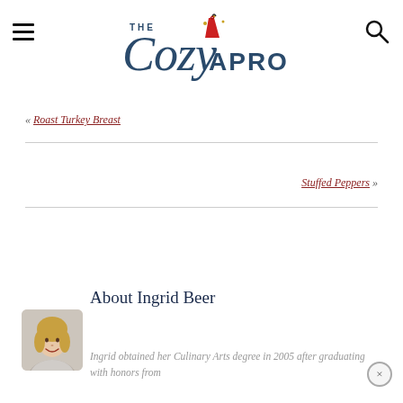The Cozy Apron
« Roast Turkey Breast
Stuffed Peppers »
About Ingrid Beer
Ingrid obtained her Culinary Arts degree in 2005 after graduating with honors from